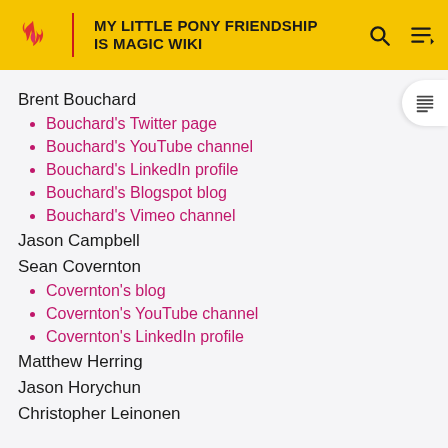MY LITTLE PONY FRIENDSHIP IS MAGIC WIKI
Brent Bouchard
Bouchard's Twitter page
Bouchard's YouTube channel
Bouchard's LinkedIn profile
Bouchard's Blogspot blog
Bouchard's Vimeo channel
Jason Campbell
Sean Covernton
Covernton's blog
Covernton's YouTube channel
Covernton's LinkedIn profile
Matthew Herring
Jason Horychun
Christopher Leinonen